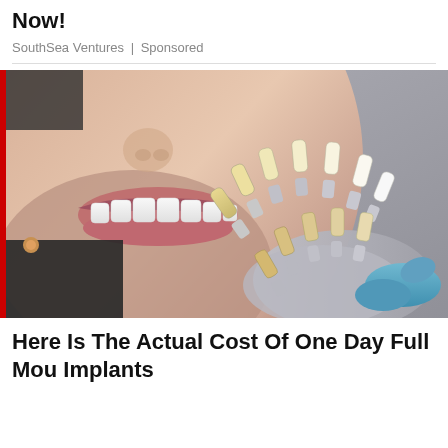Now!
SouthSea Ventures | Sponsored
[Figure (photo): Close-up photo of a smiling person showing white teeth, with a dental shade guide fan being held up by a gloved hand for tooth color comparison.]
Here Is The Actual Cost Of One Day Full Mouth Implants